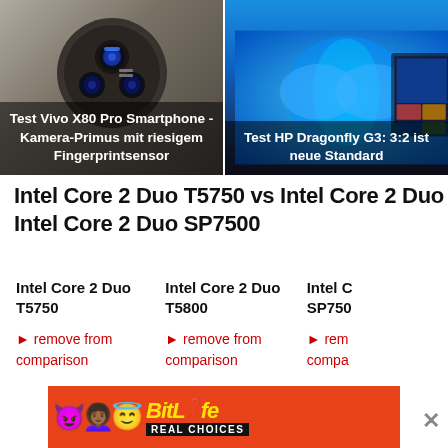[Figure (photo): Two article preview cards side by side. Left: back of Vivo X80 Pro smartphone showing large circular camera array with Zeiss branding. Right: HP Dragonfly G3 laptop showing Windows 11 desktop.]
Test Vivo X80 Pro Smartphone - Kamera-Primus mit riesigem Fingerprintsensor
Test HP Dragonfly G3: 3:2 ist neue Standard
Intel Core 2 Duo T5750 vs Intel Core 2 Duo Intel Core 2 Duo SP7500
| Intel Core 2 Duo T5750 | Intel Core 2 Duo T5800 | Intel C SP750 |
| --- | --- | --- |
| ► remove from comparison | ► remove from comparison | ► rem compa |
[Figure (infographic): BitLife Real Choices advertisement banner with emoji characters on orange/red background]